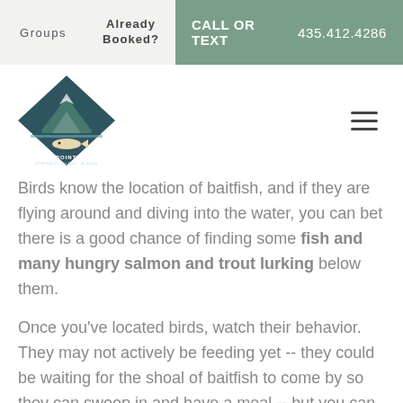Groups | Already Booked? | CALL OR TEXT 435.412.4286
[Figure (logo): Pybus Point Lodge diamond-shaped logo with mountain and fish illustration, Admiralty Island Alaska]
Birds know the location of baitfish, and if they are flying around and diving into the water, you can bet there is a good chance of finding some fish and many hungry salmon and trout lurking below them.
Once you've located birds, watch their behavior. They may not actively be feeding yet -- they could be waiting for the shoal of baitfish to come by so they can swoop in and have a meal -- but you can still work with this information. Look for areas where the birds are diving, or areas where they are circling around. These are good places to cast your line,